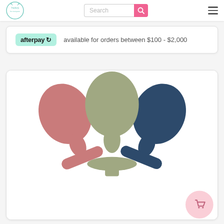Twins for Everyone — Search bar and navigation
afterpay available for orders between $100 - $2,000
[Figure (photo): Three silicone baby spoons in dusty pink, sage green, and navy blue arranged together, with the green spoon in the center slightly taller than the other two, against a white background. A pink circular cart button is visible in the bottom right corner.]